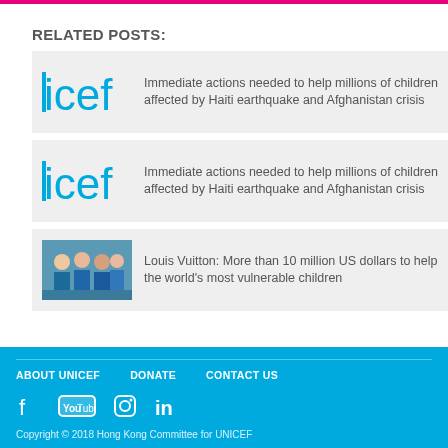RELATED POSTS:
Immediate actions needed to help millions of children affected by Haiti earthquake and Afghanistan crisis
Immediate actions needed to help millions of children affected by Haiti earthquake and Afghanistan crisis
Louis Vuitton: More than 10 million US dollars to help the world's most vulnerable children
ABOUT UNICEF   DONATE   CONTACT US
Copyright © 2018 Hong Kong Committee for UNICEF